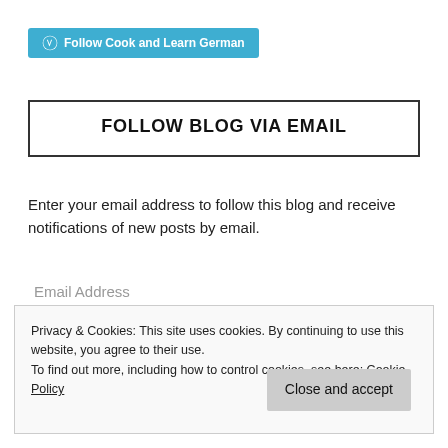[Figure (other): WordPress Follow button: cyan/blue rounded button with WordPress logo icon and text 'Follow Cook and Learn German']
FOLLOW BLOG VIA EMAIL
Enter your email address to follow this blog and receive notifications of new posts by email.
Email Address
Privacy & Cookies: This site uses cookies. By continuing to use this website, you agree to their use.
To find out more, including how to control cookies, see here: Cookie Policy
Close and accept